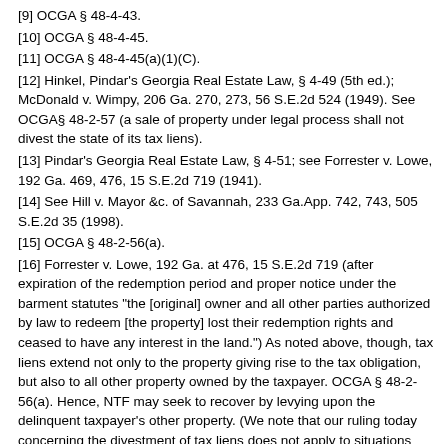[9] OCGA § 48-4-43.
[10] OCGA § 48-4-45.
[11] OCGA § 48-4-45(a)(1)(C).
[12] Hinkel, Pindar's Georgia Real Estate Law, § 4-49 (5th ed.); McDonald v. Wimpy, 206 Ga. 270, 273, 56 S.E.2d 524 (1949). See OCGA§ 48-2-57 (a sale of property under legal process shall not divest the state of its tax liens).
[13] Pindar's Georgia Real Estate Law, § 4-51; see Forrester v. Lowe, 192 Ga. 469, 476, 15 S.E.2d 719 (1941).
[14] See Hill v. Mayor &c. of Savannah, 233 Ga.App. 742, 743, 505 S.E.2d 35 (1998).
[15] OCGA § 48-2-56(a).
[16] Forrester v. Lowe, 192 Ga. at 476, 15 S.E.2d 719 (after expiration of the redemption period and proper notice under the barment statutes "the [original] owner and all other parties authorized by law to redeem [the property] lost their redemption rights and ceased to have any interest in the land.") As noted above, though, tax liens extend not only to the property giving rise to the tax obligation, but also to all other property owned by the taxpayer. OCGA § 48-2-56(a). Hence, NTF may seek to recover by levying upon the delinquent taxpayer's other property. (We note that our ruling today concerning the divestment of tax liens does not apply to situations where there has been no tax sale